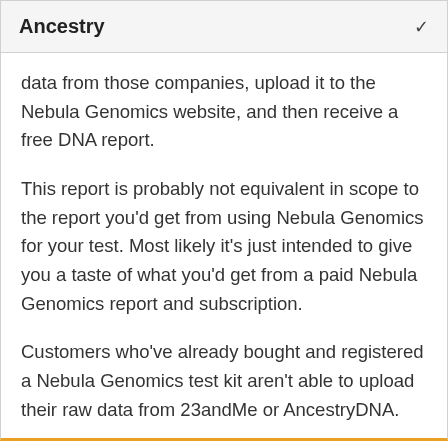Ancestry
data from those companies, upload it to the Nebula Genomics website, and then receive a free DNA report.

This report is probably not equivalent in scope to the report you'd get from using Nebula Genomics for your test. Most likely it's just intended to give you a taste of what you'd get from a paid Nebula Genomics report and subscription.

Customers who've already bought and registered a Nebula Genomics test kit aren't able to upload their raw data from 23andMe or AncestryDNA.
[Figure (logo): Nebula Genomics logo with stylized N icon and brand name in blue, with orange VISIT SITE button]